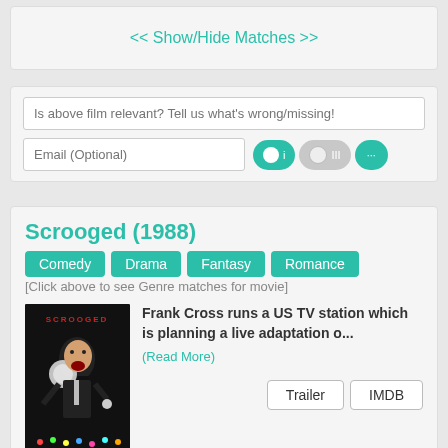<< Show/Hide Matches >>
Is above film relevant? Tell us what's wrong/missing!
Email (Optional)
Scrooged (1988)
Comedy
Drama
Fantasy
Romance
[Click above to see Genre matches for movie]
Frank Cross runs a US TV station which is planning a live adaptation o...
(Read More)
Trailer
IMDB